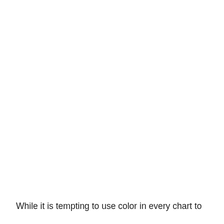While it is tempting to use color in every chart to